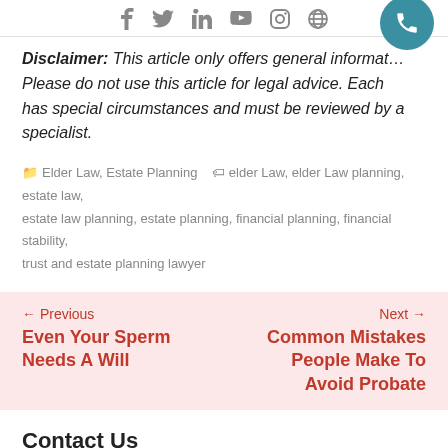Social media and phone navigation icons
Disclaimer: This article only offers general information. Please do not use this article for legal advice. Each has special circumstances and must be reviewed by a specialist.
Elder Law, Estate Planning  elder Law, elder Law planning, estate law, estate law planning, estate planning, financial planning, financial stability, trust and estate planning lawyer
← Previous Even Your Sperm Needs A Will   Next → Common Mistakes People Make To Avoid Probate
Contact Us